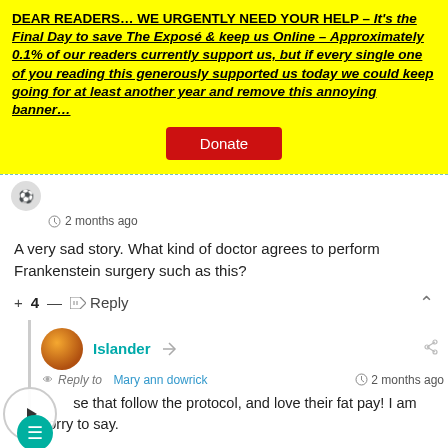DEAR READERS… WE URGENTLY NEED YOUR HELP – It's the Final Day to save The Exposé & keep us Online – Approximately 0.1% of our readers currently support us, but if every single one of you reading this generously supported us today we could keep going for at least another year and remove this annoying banner…
Donate
2 months ago
A very sad story. What kind of doctor agrees to perform Frankenstein surgery such as this?
+ 4 — Reply
Islander
Reply to Mary ann dowrick 2 months ago
…se that follow the protocol, and love their fat pay! I am sorry to say.